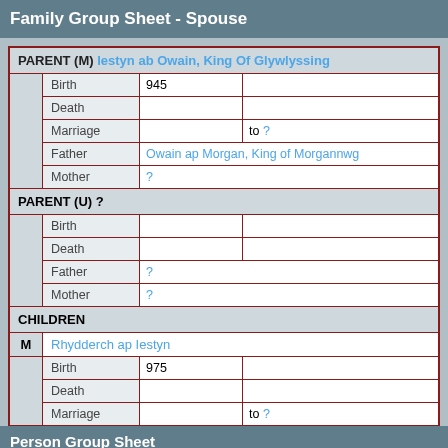Family Group Sheet - Spouse
| PARENT (M) | Iestyn ab Owain, King Of Glywlyssing |
| Birth | 945 |  |
| Death |  |  |
| Marriage |  | to ? |
| Father | Owain ap Morgan, King of Morgannwg |
| Mother | ? |
| PARENT (U) ? |
| Birth |  |  |
| Death |  |  |
| Father | ? |
| Mother | ? |
| CHILDREN |
| M | Rhydderch ap Iestyn |
| Birth | 975 |  |
| Death |  |  |
| Marriage |  | to ? |
Person Group Sheet